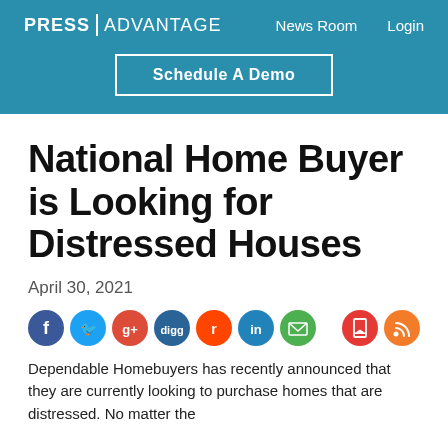PRESS|ADVANTAGE   News Room   Login   Schedule A Demo
National Home Buyer is Looking for Distressed Houses
April 30, 2021
[Figure (infographic): Social media sharing icons: Facebook, Twitter, Google+, Digg, Reddit, LinkedIn, Email, and two additional icons on the right]
Dependable Homebuyers has recently announced that they are currently looking to purchase homes that are distressed. No matter the...